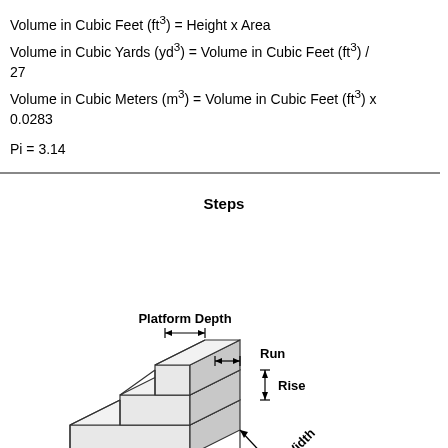Steps
[Figure (engineering-diagram): 3D illustration of concrete steps showing Platform Depth (with arrow), Run (with arrow), Rise (with vertical arrow), and Width (with diagonal arrow) dimensions labeled on the staircase.]